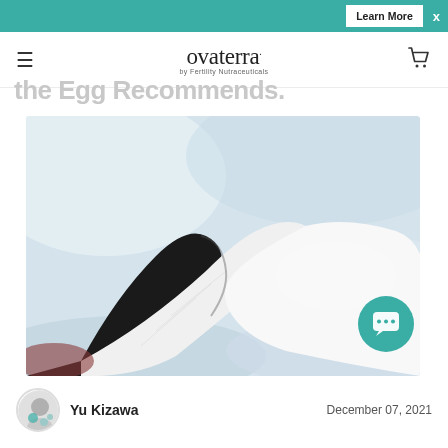Learn More  x
[Figure (logo): Ovaterra logo with text 'ovaterra. by Fertility Nutraceuticals' and navigation icons (hamburger menu, shopping cart)]
the Egg Recommends.
[Figure (photo): Close-up photo of an open book with pages spread apart, on a soft light blue fabric surface]
Yu Kizawa
December 07, 2021